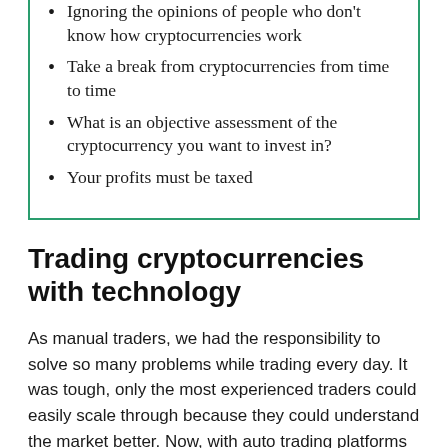Ignoring the opinions of people who don't know how cryptocurrencies work
Take a break from cryptocurrencies from time to time
What is an objective assessment of the cryptocurrency you want to invest in?
Your profits must be taxed
Trading cryptocurrencies with technology
As manual traders, we had the responsibility to solve so many problems while trading every day. It was tough, only the most experienced traders could easily scale through because they could understand the market better. Now, with auto trading platforms such